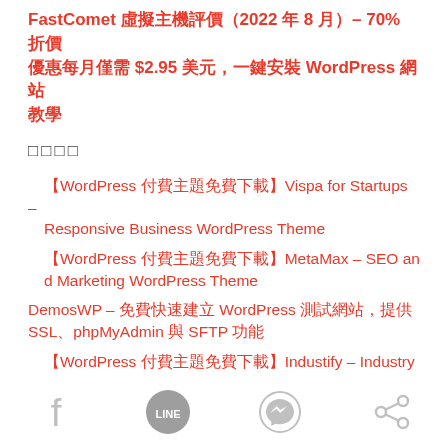FastComet 虛擬主機評價（2022 年 8 月）– 70% 折價優惠每月僅需 $2.95 美元，一鍵安裝 WordPress 網站教學
□□□□
【WordPress 付費主題免費下載】Vispa for Startups – Responsive Business WordPress Theme
【WordPress 付費主題免費下載】MetaMax – SEO and Marketing WordPress Theme
DemosWP – 免費快速建立 WordPress 測試網站，提供 SSL、phpMyAdmin 與 SFTP 功能
【WordPress 付費主題免費下載】Industify – Industry
[Figure (infographic): Social share icons: Facebook, LINE, Messenger, Share]